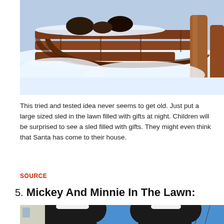[Figure (photo): A wooden sled resting in snow, photographed close up with warm tones and snow surrounding it.]
This tried and tested idea never seems to get old. Just put a large sized sled in the lawn filled with gifts at night. Children will be surprised to see a sled filled with gifts. They might even think that Santa has come to their house.
SOURCE
5. Mickey And Minnie In The Lawn:
[Figure (photo): Large Mickey and Minnie Mouse lawn decorations wearing Santa hats, photographed against a blue sky with bare trees in background.]